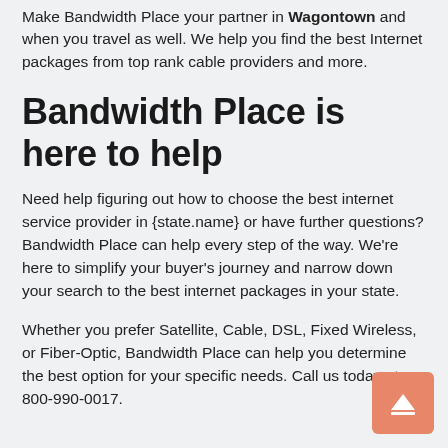Make Bandwidth Place your partner in Wagontown and when you travel as well. We help you find the best Internet packages from top rank cable providers and more.
Bandwidth Place is here to help
Need help figuring out how to choose the best internet service provider in {state.name} or have further questions? Bandwidth Place can help every step of the way. We're here to simplify your buyer's journey and narrow down your search to the best internet packages in your state.
Whether you prefer Satellite, Cable, DSL, Fixed Wireless, or Fiber-Optic, Bandwidth Place can help you determine the best option for your specific needs. Call us today at 800-990-0017.